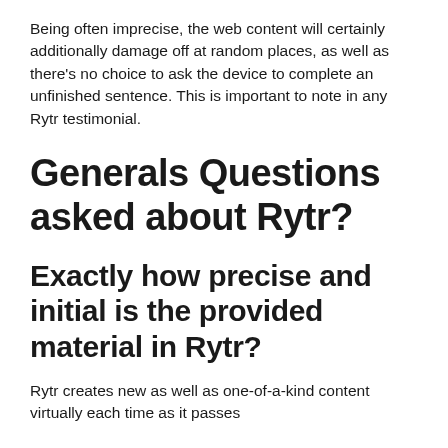Being often imprecise, the web content will certainly additionally damage off at random places, as well as there’s no choice to ask the device to complete an unfinished sentence. This is important to note in any Rytr testimonial.
Generals Questions asked about Rytr?
Exactly how precise and initial is the provided material in Rytr?
Rytr creates new as well as one-of-a-kind content virtually each time as it passes